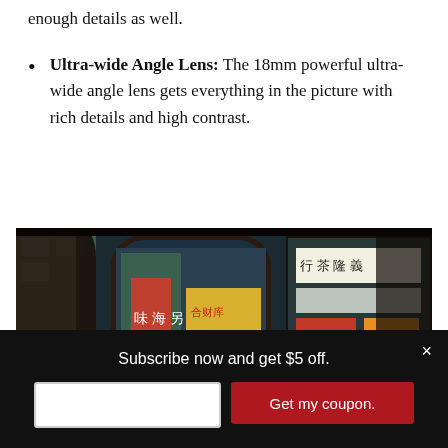enough details as well.
Ultra-wide Angle Lens: The 18mm powerful ultra-wide angle lens gets everything in the picture with rich details and high contrast.
[Figure (photo): A wide-angle street photograph taken from inside a vehicle or tram, looking out at a busy Hong Kong street scene with colorful Chinese shop signs and storefronts.]
Subscribe now and get $5 off.
Get my coupon.